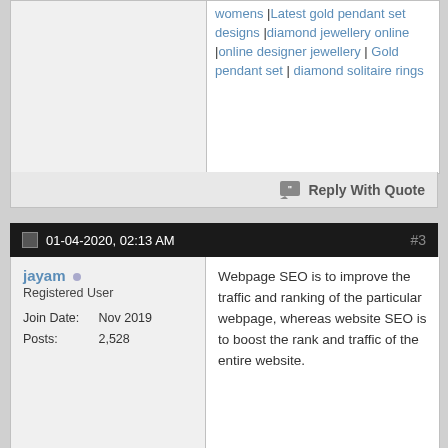womens |Latest gold pendant set designs |diamond jewellery online |online designer jewellery | Gold pendant set | diamond solitaire rings
Reply With Quote
01-04-2020, 02:13 AM  #3
jayam
Registered User
Join Date: Nov 2019
Posts: 2,528
Webpage SEO is to improve the traffic and ranking of the particular webpage, whereas website SEO is to boost the rank and traffic of the entire website.